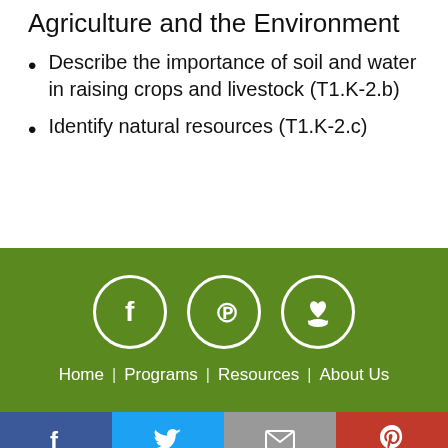Agriculture and the Environment
Describe the importance of soil and water in raising crops and livestock (T1.K-2.b)
Identify natural resources (T1.K-2.c)
[Figure (other): Green footer with three circular social media icons (Facebook, Pinterest, donate/heart) and navigation links: Home | Programs | Resources | About Us]
Facebook | Twitter | Email | Pinterest social share bar